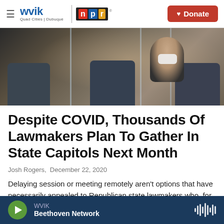WVIK | NPR | Quad Cities | Dubuque — Donate
[Figure (photo): Legislative chamber scene with a masked woman seated at a desk behind plexiglass dividers, other legislators in background]
Despite COVID, Thousands Of Lawmakers Plan To Gather In State Capitols Next Month
Josh Rogers,  December 22, 2020
Delaying session or meeting remotely aren't options that have necessarily appealed to Republican state lawmakers who, for the most part, aren't shy about
WVIK  Beethoven Network